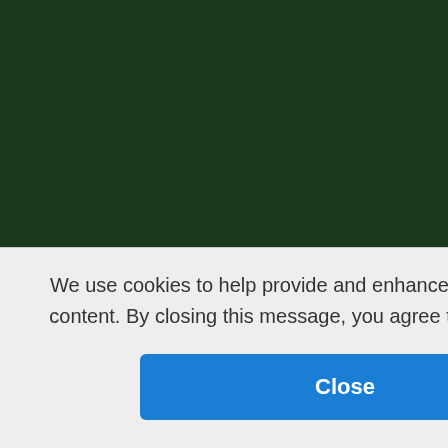[Figure (other): Dark green background panel on the left side of the page]
| Time | Session |
| --- | --- |
|  | Pierre
Sessi...
9:30 A... |
| 9:50 AM | Desi...
Roun...
Maso...
Sessi...
9:50 A... |
| 10:30 AM | Cons...
Opti...
Florin...
Resea...
Anton...
Resea...
Enric...
Resea...
Aras ...
Ligia ...
Sessi...
Impro...
10:30... |
|  | Grou... |
We use cookies to help provide and enhance our service and tailor content. By closing this message, you agree to the use of cookies.